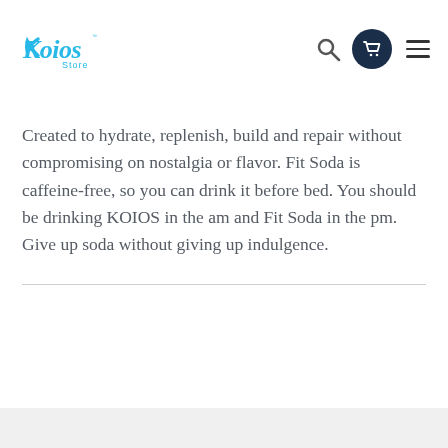Koios Store — navigation header with logo, search, cart, and menu icons
Created to hydrate, replenish, build and repair without compromising on nostalgia or flavor.  Fit Soda is caffeine-free, so you can drink it before bed. You should be drinking KOIOS in the am and Fit Soda in the pm.  Give up soda without giving up indulgence.